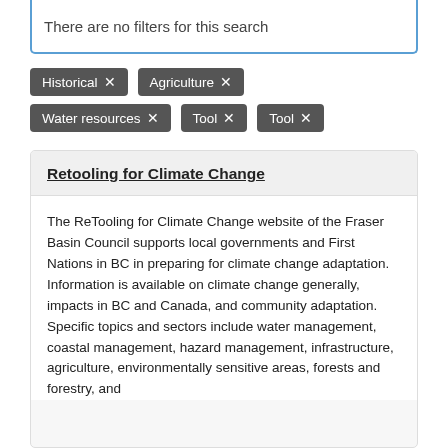There are no filters for this search
Historical ×
Agriculture ×
Water resources ×
Tool ×
Tool ×
Retooling for Climate Change
The ReTooling for Climate Change website of the Fraser Basin Council supports local governments and First Nations in BC in preparing for climate change adaptation. Information is available on climate change generally, impacts in BC and Canada, and community adaptation. Specific topics and sectors include water management, coastal management, hazard management, infrastructure, agriculture, environmentally sensitive areas, forests and forestry, and